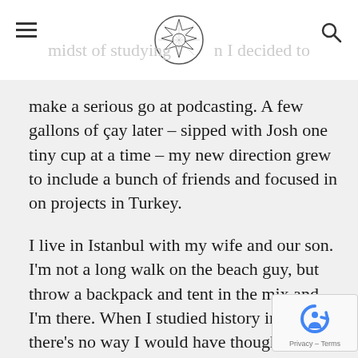midst of studying [logo] n I decided to
make a serious go at podcasting. A few gallons of çay later – sipped with Josh one tiny cup at a time – my new direction grew to include a bunch of friends and focused in on projects in Turkey.
I live in Istanbul with my wife and our son. I'm not a long walk on the beach guy, but throw a backpack and tent in the mix and I'm there. When I studied history in college, there's no way I would have thought I would pray in Hagia Sophia, walk an aqueduct constructed on the o of Alexander the Great, or hold coins